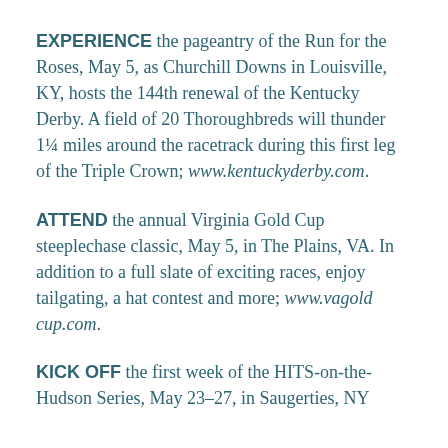EXPERIENCE the pageantry of the Run for the Roses, May 5, as Churchill Downs in Louisville, KY, hosts the 144th renewal of the Kentucky Derby. A field of 20 Thoroughbreds will thunder 1¼ miles around the racetrack during this first leg of the Triple Crown; www.kentuckyderby.com.
ATTEND the annual Virginia Gold Cup steeplechase classic, May 5, in The Plains, VA. In addition to a full slate of exciting races, enjoy tailgating, a hat contest and more; www.vagoldcup.com.
KICK OFF the first week of the HITS-on-the-Hudson Series, May 23–27, in Saugerties, NY